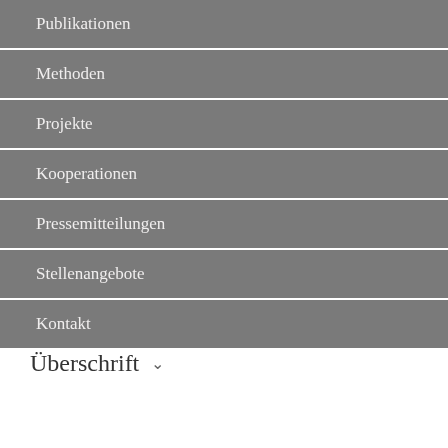Publikationen
Methoden
Projekte
Kooperationen
Pressemitteilungen
Stellenangebote
Kontakt
Überschrift